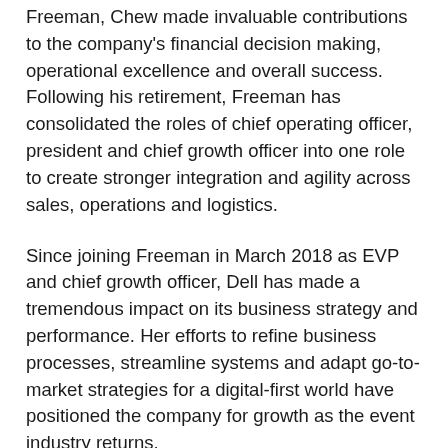Freeman, Chew made invaluable contributions to the company's financial decision making, operational excellence and overall success. Following his retirement, Freeman has consolidated the roles of chief operating officer, president and chief growth officer into one role to create stronger integration and agility across sales, operations and logistics.
Since joining Freeman in March 2018 as EVP and chief growth officer, Dell has made a tremendous impact on its business strategy and performance. Her efforts to refine business processes, streamline systems and adapt go-to-market strategies for a digital-first world have positioned the company for growth as the event industry returns.